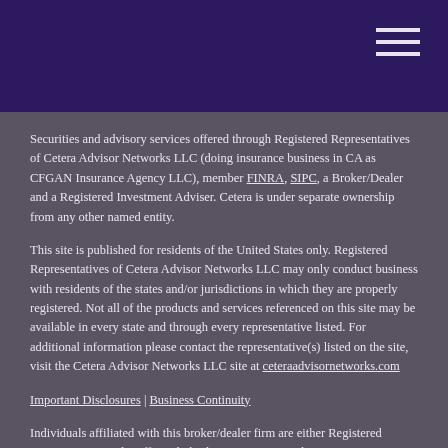Header bar with hamburger menu icon
Securities and advisory services offered through Registered Representatives of Cetera Advisor Networks LLC (doing insurance business in CA as CFGAN Insurance Agency LLC), member FINRA, SIPC, a Broker/Dealer and a Registered Investment Adviser. Cetera is under separate ownership from any other named entity.
This site is published for residents of the United States only. Registered Representatives of Cetera Advisor Networks LLC may only conduct business with residents of the states and/or jurisdictions in which they are properly registered. Not all of the products and services referenced on this site may be available in every state and through every representative listed. For additional information please contact the representative(s) listed on the site, visit the Cetera Advisor Networks LLC site at ceteraadvisornetworks.com
Important Disclosures | Business Continuity
Individuals affiliated with this broker/dealer firm are either Registered Representatives who offer only brokerage services and receive transaction-based compensation (commissions), Investment Adviser Representatives who offer only investment advisory services and receive fees based on assets, or both Registered Representatives and Investment Adviser Representatives, who can offer both types of services.